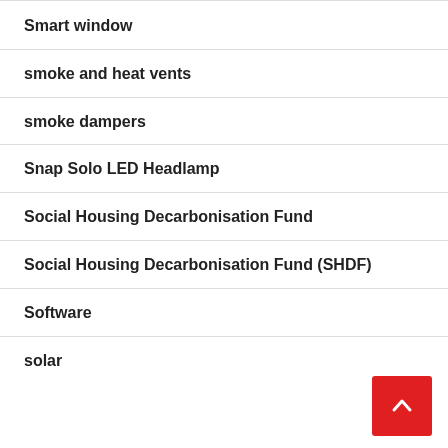Smart window
smoke and heat vents
smoke dampers
Snap Solo LED Headlamp
Social Housing Decarbonisation Fund
Social Housing Decarbonisation Fund (SHDF)
Software
solar